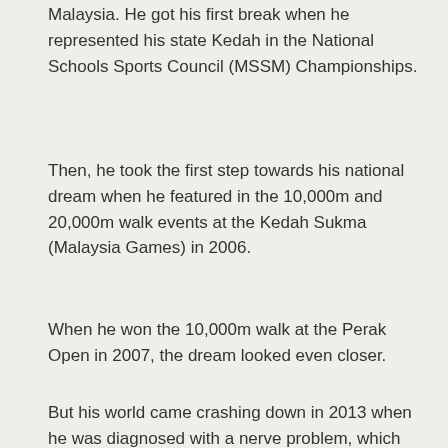Malaysia. He got his first break when he represented his state Kedah in the National Schools Sports Council (MSSM) Championships.
Then, he took the first step towards his national dream when he featured in the 10,000m and 20,000m walk events at the Kedah Sukma (Malaysia Games) in 2006.
When he won the 10,000m walk at the Perak Open in 2007, the dream looked even closer.
But his world came crashing down in 2013 when he was diagnosed with a nerve problem, which affected his hands and legs.
[Figure (photo): A person standing in an indoor setting, partially visible from the waist up. Equipment visible on the right side of the image.]